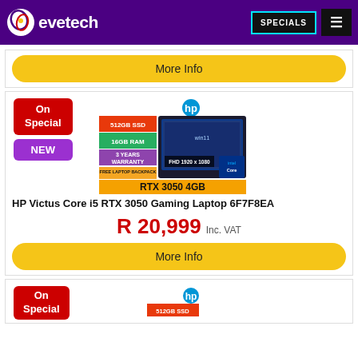evetech — SPECIALS
[Figure (screenshot): Partial 'More Info' yellow button from a prior product card]
[Figure (photo): HP Victus Core i5 RTX 3050 Gaming Laptop product image with spec callouts: 512GB SSD, 16GB RAM, 3 Years Warranty, Free Laptop Backpack, RTX 3050 4GB, FHD 1920x1080, HP logo, Intel Core badge]
HP Victus Core i5 RTX 3050 Gaming Laptop 6F7F8EA
R 20,999 Inc. VAT
More Info
[Figure (photo): Partial HP laptop product card at bottom, showing On Special badge and 512GB SSD spec label, HP logo visible]